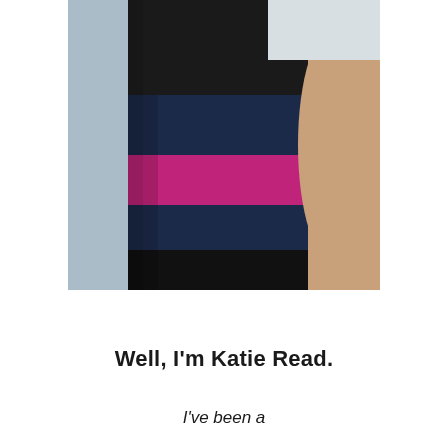[Figure (photo): Close-up photo of a person wearing a color-block outfit: black top portion, navy blue middle section, bright magenta/fuchsia wide belt band, navy blue lower section, and black bottom. The person is standing against a light blue/white wall, showing their torso and arms.]
Well, I'm Katie Read.
I've been a